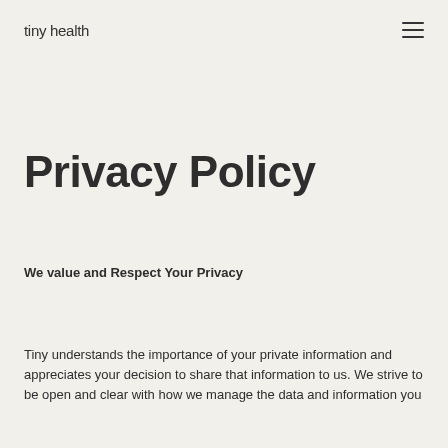tiny health
Privacy Policy
We value and Respect Your Privacy
Tiny understands the importance of your private information and appreciates your decision to share that information to us. We strive to be open and clear with how we manage the data and information you